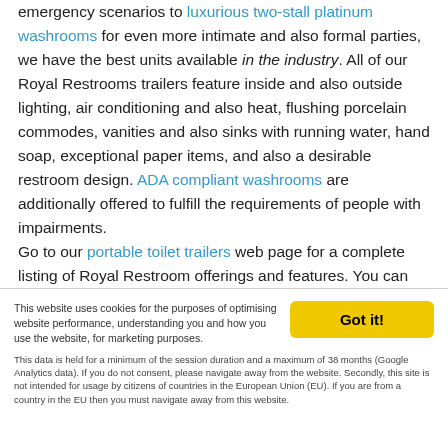emergency scenarios to luxurious two-stall platinum washrooms for even more intimate and also formal parties, we have the best units available in the industry. All of our Royal Restrooms trailers feature inside and also outside lighting, air conditioning and also heat, flushing porcelain commodes, vanities and also sinks with running water, hand soap, exceptional paper items, and also a desirable restroom design. ADA compliant washrooms are additionally offered to fulfill the requirements of people with impairments.

Go to our portable toilet trailers web page for a complete listing of Royal Restroom offerings and features. You can also contact us today and let us introduce you to our
This website uses cookies for the purposes of optimising website performance, understanding you and how you use the website, for marketing purposes. This data is held for a minimum of the session duration and a maximum of 38 months (Google Analytics data). If you do not consent, please navigate away from the website. Secondly, this site is not intended for usage by citizens of countries in the European Union (EU). If you are from a country in the EU then you must navigate away from this website.